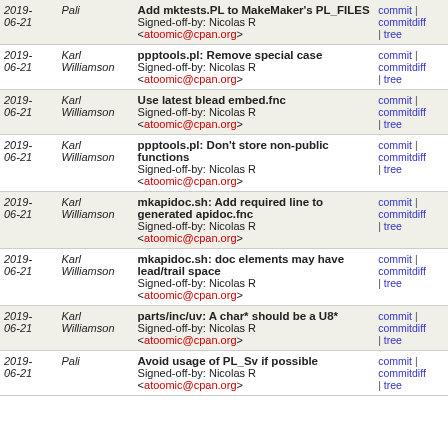| Date | Author | Message | Links |
| --- | --- | --- | --- |
| 2019-06-21 | Pali | Add mktests.PL to MakeMaker's PL_FILES
Signed-off-by: Nicolas R <atoomic@cpan.org> | commit | commitdiff | tree |
| 2019-06-21 | Karl Williamson | ppptools.pl: Remove special case
Signed-off-by: Nicolas R <atoomic@cpan.org> | commit | commitdiff | tree |
| 2019-06-21 | Karl Williamson | Use latest blead embed.fnc
Signed-off-by: Nicolas R <atoomic@cpan.org> | commit | commitdiff | tree |
| 2019-06-21 | Karl Williamson | ppptools.pl: Don't store non-public functions
Signed-off-by: Nicolas R <atoomic@cpan.org> | commit | commitdiff | tree |
| 2019-06-21 | Karl Williamson | mkapidoc.sh: Add required line to generated apidoc.fnc
Signed-off-by: Nicolas R <atoomic@cpan.org> | commit | commitdiff | tree |
| 2019-06-21 | Karl Williamson | mkapidoc.sh: doc elements may have lead/trail space
Signed-off-by: Nicolas R <atoomic@cpan.org> | commit | commitdiff | tree |
| 2019-06-21 | Karl Williamson | parts/inc/uv: A char* should be a U8*
Signed-off-by: Nicolas R <atoomic@cpan.org> | commit | commitdiff | tree |
| 2019-06-21 | Pali | Avoid usage of PL_Sv if possible
Signed-off-by: Nicolas R <atoomic@cpan.org> | commit | commitdiff | tree |